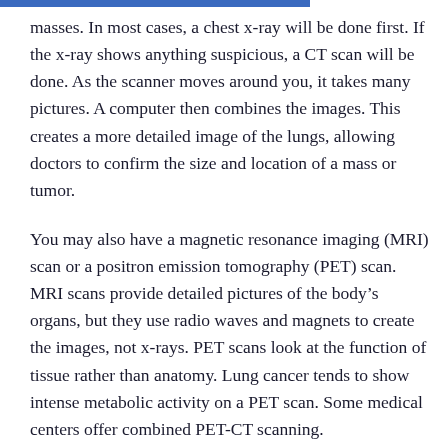masses. In most cases, a chest x-ray will be done first. If the x-ray shows anything suspicious, a CT scan will be done. As the scanner moves around you, it takes many pictures. A computer then combines the images. This creates a more detailed image of the lungs, allowing doctors to confirm the size and location of a mass or tumor.
You may also have a magnetic resonance imaging (MRI) scan or a positron emission tomography (PET) scan. MRI scans provide detailed pictures of the body's organs, but they use radio waves and magnets to create the images, not x-rays. PET scans look at the function of tissue rather than anatomy. Lung cancer tends to show intense metabolic activity on a PET scan. Some medical centers offer combined PET-CT scanning.
If cancer is suspected based on these images, more tests will be done to make the diagnosis, determine the type of cancer, and see if it has spread. These tests may include the following: